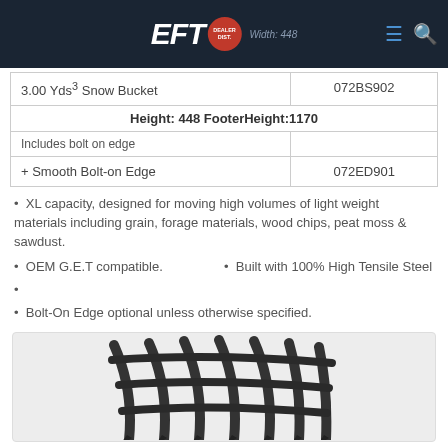EFT - Width: 448
| Product | Part Number |
| --- | --- |
| 3.00 Yds³ Snow Bucket
Includes bolt on edge | 072BS902 |
| + Smooth Bolt-on Edge | 072ED901 |
XL capacity, designed for moving high volumes of light weight materials including grain, forage materials, wood chips, peat moss & sawdust.
OEM G.E.T compatible.
Built with 100% High Tensile Steel
Bolt-On Edge optional unless otherwise specified.
[Figure (photo): Close-up photo of a snow bucket attachment showing curved metal tines/bars arranged in a grid pattern, dark metallic finish.]